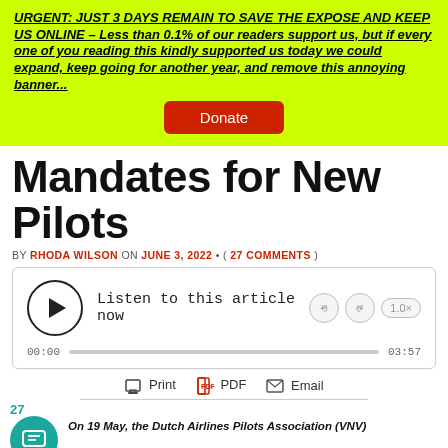URGENT: JUST 3 DAYS REMAIN TO SAVE THE EXPOSE AND KEEP US ONLINE – Less than 0.1% of our readers support us, but if every one of you reading this kindly supported us today we could expand, keep going for another year, and remove this annoying banner...
Donate
Mandates for New Pilots
BY RHODA WILSON ON JUNE 3, 2022 • ( 27 COMMENTS )
[Figure (other): Audio player widget: Listen to this article now, play button, rewind/forward controls, speed control 1.0x, progress bar 00:00 to 03:57]
Print  PDF  Email
27
On 19 May, the Dutch Airlines Pilots Association (VNV)...